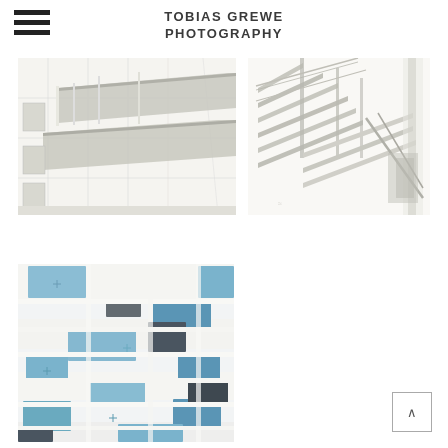TOBIAS GREWE PHOTOGRAPHY
[Figure (photo): Architectural photo of building facade with overhanging balconies and large windows, high-key white tones]
[Figure (photo): Architectural photo of white metal staircase with railings against bright white background]
[Figure (photo): Architectural photo of building facade with blue and dark grey geometric tile panels on white structure]